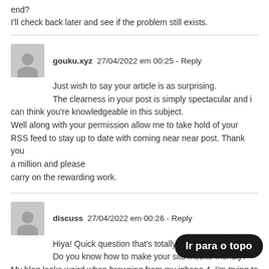end?
I'll check back later and see if the problem still exists.
gouku.xyz  27/04/2022 em 00:25 - Reply
Just wish to say your article is as surprising. The clearness in your post is simply spectacular and i can think you're knowledgeable in this subject. Well along with your permission allow me to take hold of your RSS feed to stay up to date with coming near near post. Thank you a million and please carry on the rewarding work.
discuss  27/04/2022 em 00:26 - Reply
Hiya! Quick question that's totally off topic. Do you know how to make your site mobile friendly? My blog looks weird when browsing from my iphone 4. I'm trying to find a theme or plugin that might be able to fix this issue. If you have any suggestions, please share. Thanks!
Ir para o topo